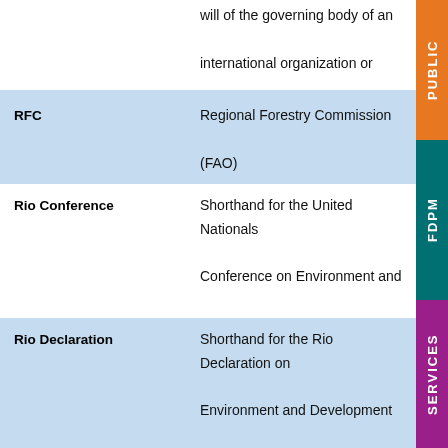| Term | Definition |
| --- | --- |
|  | will of the governing body of an international organization or international agreement. Usually non-binding |
| RFC | Regional Forestry Commission (FAO) |
| Rio Conference | Shorthand for the United Nationals Conference on Environment and Development (UNCED), held in Rio de Janeiro, Brazil in 1992 |
| Rio Declaration | Shorthand for the Rio Declaration on Environment and Development adopted at the Rio Conference, the UN conference on Environment and |